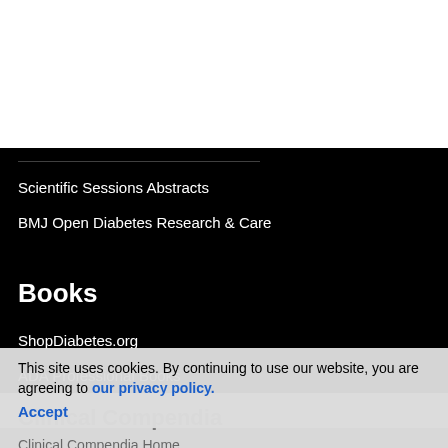Scientific Sessions Abstracts
BMJ Open Diabetes Research & Care
Books
ShopDiabetes.org
ADA Professional Books
Clinical Compendia
Clinical Compendia Home
News
This site uses cookies. By continuing to use our website, you are agreeing to our privacy policy. Accept